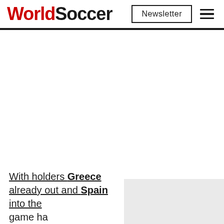WorldSoccer | Newsletter
With holders Greece already out and Spain into the game ha